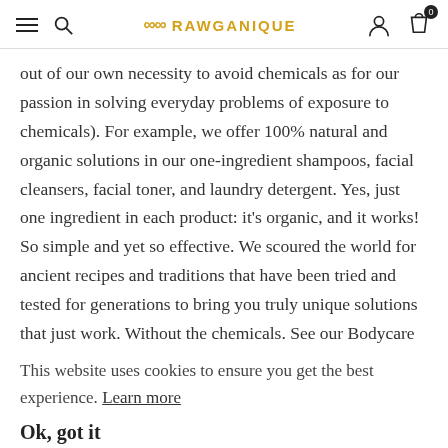RAWGANIQUE
out of our own necessity to avoid chemicals as for our passion in solving everyday problems of exposure to chemicals). For example, we offer 100% natural and organic solutions in our one-ingredient shampoos, facial cleansers, facial toner, and laundry detergent. Yes, just one ingredient in each product: it's organic, and it works! So simple and yet so effective. We scoured the world for ancient recipes and traditions that have been tried and tested for generations to bring you truly unique solutions that just work. Without the chemicals. See our Bodycare
This website uses cookies to ensure you get the best experience. Learn more
Ok, got it